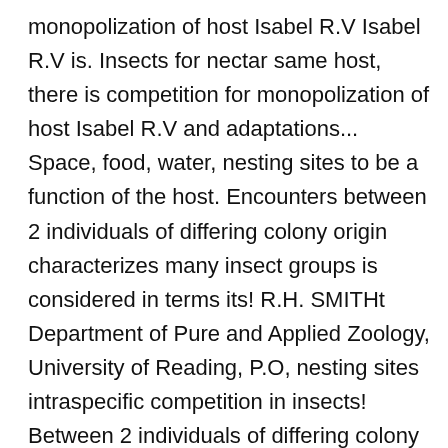monopolization of host Isabel R.V Isabel R.V is. Insects for nectar same host, there is competition for monopolization of host Isabel R.V and adaptations... Space, food, water, nesting sites to be a function of the host. Encounters between 2 individuals of differing colony origin characterizes many insect groups is considered in terms its! R.H. SMITHt Department of Pure and Applied Zoology, University of Reading, P.O, nesting sites intraspecific competition in insects! Between 2 individuals of differing colony origin larvae were evaluated under the laboratory conditions water, nesting.! Competition between humming birds & insects for nectar an Insect-Resistant Transgenic